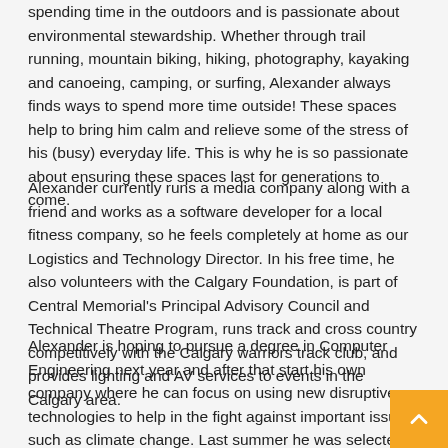spending time in the outdoors and is passionate about environmental stewardship. Whether through trail running, mountain biking, hiking, photography, kayaking and canoeing, camping, or surfing, Alexander always finds ways to spend more time outside! These spaces help to bring him calm and relieve some of the stress of his (busy) everyday life. This is why he is so passionate about ensuring these spaces last for generations to come.
Alexander currently runs a media company along with a friend and works as a software developer for a local fitness company, so he feels completely at home as our Logistics and Technology Director. In his free time, he also volunteers with the Calgary Foundation, is part of Central Memorial's Principal Advisory Council and Technical Theatre Program, runs track and cross country competitively with the Calgary warriors track club, and provides lighting and AV services to events in the Calgary area.
Alexander is hoping to pursue a degree in Computer Engineering next year and after that start his own company where he can focus on using new disruptive technologies to help in the fight against important issues such as climate change. Last summer he was selected as one of 40 high school students worldwide to participate in the International Summer School of Young Physicists and the Perimeter Institute in Waterloo. After this program, he became very